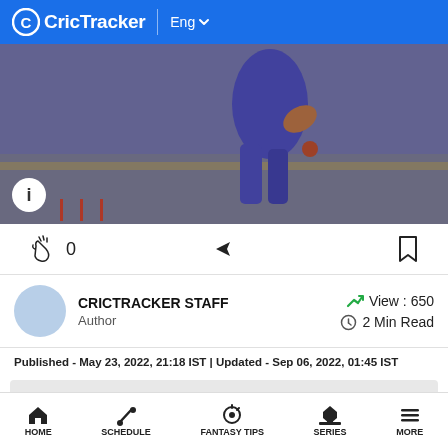CricTracker | Eng
[Figure (photo): Cricket player in blue/purple uniform bowling or running, action shot on cricket ground]
0
CRICTRACKER STAFF
Author
View : 650
2 Min Read
Published - May 23, 2022, 21:18 IST | Updated - Sep 06, 2022, 01:45 IST
[Figure (other): Advertisement placeholder area (gray box)]
HOME  SCHEDULE  FANTASY TIPS  SERIES  MORE